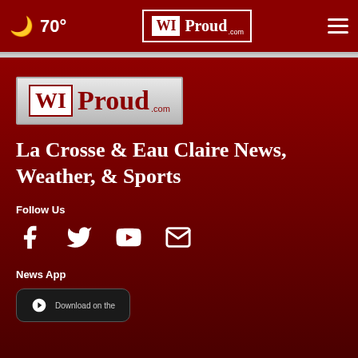70° WIProud.com
[Figure (logo): WIProud.com logo — large version on dark red background]
La Crosse & Eau Claire News, Weather, & Sports
Follow Us
[Figure (infographic): Social media icons: Facebook, Twitter, YouTube, Email]
News App
[Figure (infographic): Download on the App Store button (Apple)]